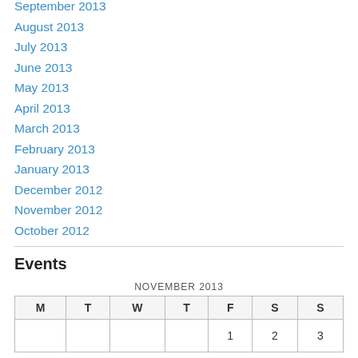September 2013
August 2013
July 2013
June 2013
May 2013
April 2013
March 2013
February 2013
January 2013
December 2012
November 2012
October 2012
Events
| M | T | W | T | F | S | S |
| --- | --- | --- | --- | --- | --- | --- |
|  |  |  |  | 1 | 2 | 3 |